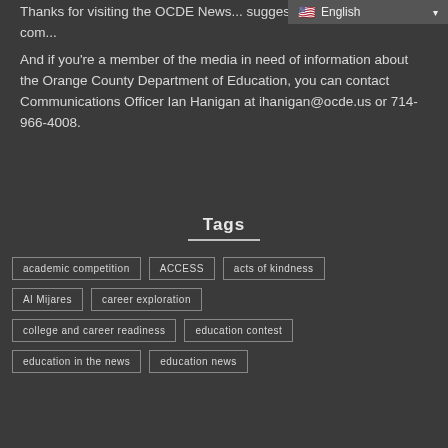suggestions should be sent to com... And if you're a member of the media in need of information about the Orange County Department of Education, you can contact Communications Officer Ian Hanigan at ihanigan@ocde.us or 714-966-4008.
Tags
academic competition
ACCESS
acts of kindness
Al Mijares
career exploration
college and career readiness
education contest
education in the news
education news